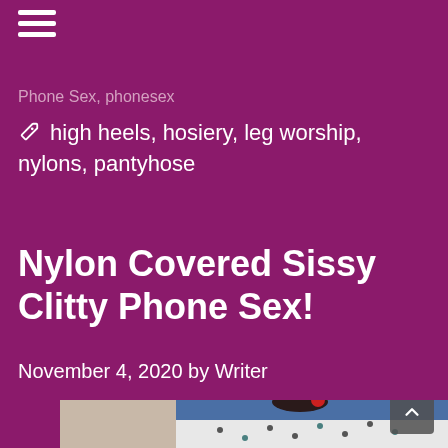☰
Phone Sex, phonesex
high heels, hosiery, leg worship, nylons, pantyhose
Nylon Covered Sissy Clitty Phone Sex!
November 4, 2020 by Writer
[Figure (photo): A woman with dark hair and a red rose hair accessory, posing on a polka-dot bed with a blue background.]